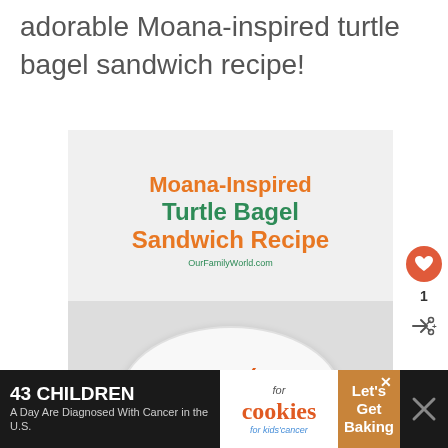adorable Moana-inspired turtle bagel sandwich recipe!
[Figure (photo): Recipe card image for Moana-Inspired Turtle Bagel Sandwich Recipe from OurFamilyWorld.com, showing orange shredded carrots on a white plate]
[Figure (infographic): Advertisement banner: '43 Children A Day Are Diagnosed With Cancer in the U.S.' with cookies for kids cancer logo and 'Let's Get Baking' text]